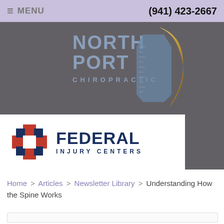≡ MENU    (941) 423-2667
[Figure (logo): North Port Chiropractic logo with gold swoosh graphic on dark gray background]
[Figure (logo): Federal Injury Centers logo with red and blue cross icon and dark blue text on white background]
Home > Articles > Newsletter Library > Understanding How the Spine Works